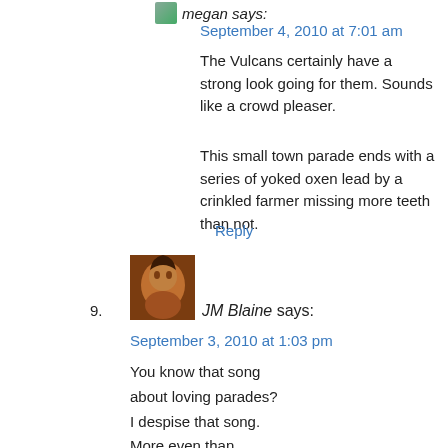[Figure (photo): Small avatar image of megan]
megan says:
September 4, 2010 at 7:01 am
The Vulcans certainly have a strong look going for them. Sounds like a crowd pleaser.
This small town parade ends with a series of yoked oxen lead by a crinkled farmer missing more teeth than not.
Reply
9.
[Figure (photo): Small avatar image of JM Blaine]
JM Blaine says:
September 3, 2010 at 1:03 pm
You know that song
about loving parades?
I despise that song.
More even than
Dont Worry be Happy
it is a far far more
offensive tune
it is.